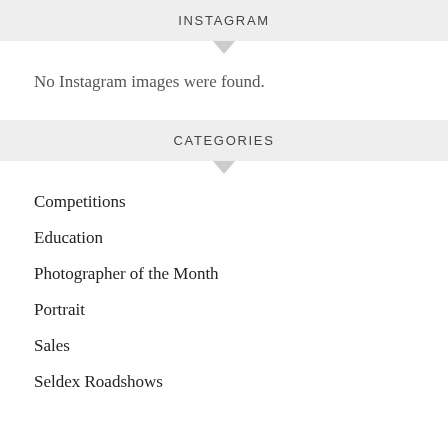INSTAGRAM
No Instagram images were found.
CATEGORIES
Competitions
Education
Photographer of the Month
Portrait
Sales
Seldex Roadshows